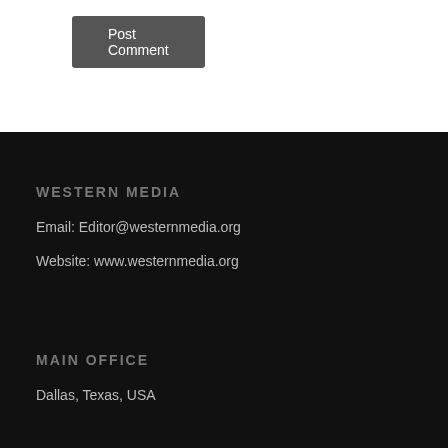Post Comment
WESTERN MEDIA
Email: Editor@westernmedia.org
Website: www.westernmedia.org
MAIN OFFICE
Dallas, Texas, USA